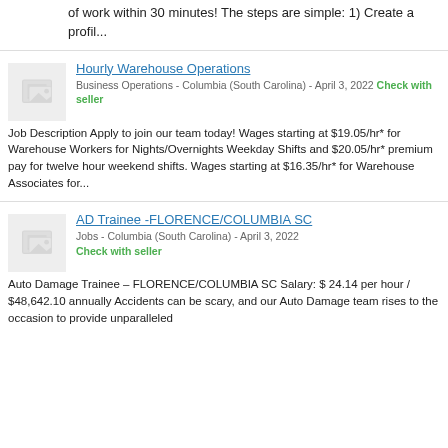of work within 30 minutes! The steps are simple: 1) Create a profil...
Hourly Warehouse Operations
Business Operations - Columbia (South Carolina) - April 3, 2022 Check with seller
Job Description Apply to join our team today! Wages starting at $19.05/hr* for Warehouse Workers for Nights/Overnights Weekday Shifts and $20.05/hr* premium pay for twelve hour weekend shifts. Wages starting at $16.35/hr* for Warehouse Associates for...
AD Trainee -FLORENCE/COLUMBIA SC
Jobs - Columbia (South Carolina) - April 3, 2022 Check with seller
Auto Damage Trainee – FLORENCE/COLUMBIA SC Salary: $ 24.14 per hour / $48,642.10 annually Accidents can be scary, and our Auto Damage team rises to the occasion to provide unparalleled